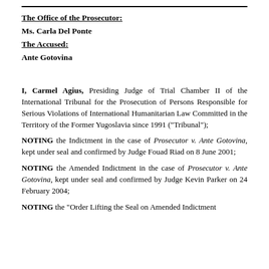The Office of the Prosecutor:
Ms. Carla Del Ponte
The Accused:
Ante Gotovina
I, Carmel Agius, Presiding Judge of Trial Chamber II of the International Tribunal for the Prosecution of Persons Responsible for Serious Violations of International Humanitarian Law Committed in the Territory of the Former Yugoslavia since 1991 ("Tribunal");
NOTING the Indictment in the case of Prosecutor v. Ante Gotovina, kept under seal and confirmed by Judge Fouad Riad on 8 June 2001;
NOTING the Amended Indictment in the case of Prosecutor v. Ante Gotovina, kept under seal and confirmed by Judge Kevin Parker on 24 February 2004;
NOTING the "Order Lifting the Seal on Amended Indictment